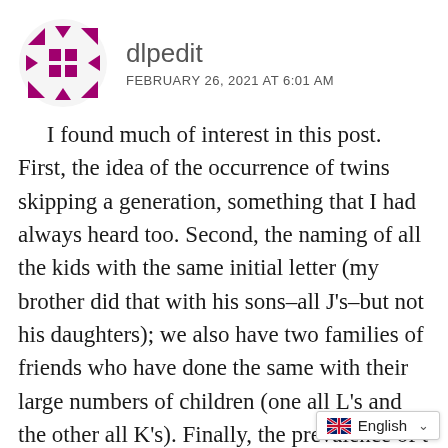[Figure (logo): dlpedit avatar: a geometric pinwheel/snowflake logo in magenta/purple squares and triangles]
dlpedit
FEBRUARY 26, 2021 AT 6:01 AM
I found much of interest in this post. First, the idea of the occurrence of twins skipping a generation, something that I had always heard too. Second, the naming of all the kids with the same initial letter (my brother did that with his sons–all J's–but not his daughters); we also have two families of friends who have done the same with their large numbers of children (one all L's and the other all K's). Finally, the prevalence of t